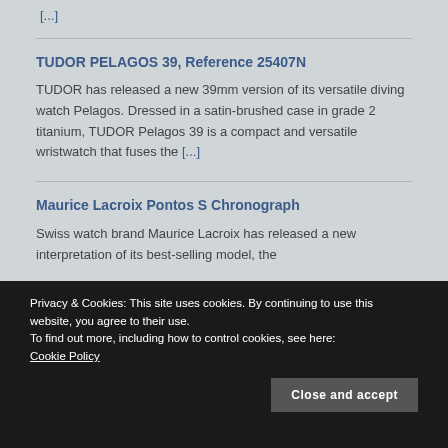[...]
TUDOR PELAGOS 39, Reference 25407N
TUDOR has released a new 39mm version of its versatile diving watch Pelagos. Dressed in a satin-brushed case in grade 2 titanium, TUDOR Pelagos 39 is a compact and versatile wristwatch that fuses the [...]
Maurice Lacroix Pontos S Chronograph
Swiss watch brand Maurice Lacroix has released a new interpretation of its best-selling model, the
Privacy & Cookies: This site uses cookies. By continuing to use this website, you agree to their use.
To find out more, including how to control cookies, see here: Cookie Policy
Close and accept